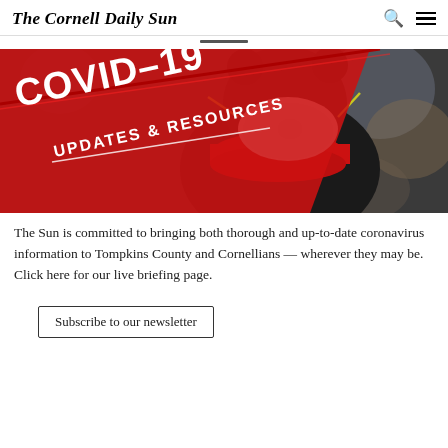The Cornell Daily Sun
[Figure (photo): COVID-19 Updates & Resources banner image showing a black bear statue wearing a red scarf and a white N95 mask, with bold red diagonal text reading COVID-19 and below it UPDATES & RESOURCES]
The Sun is committed to bringing both thorough and up-to-date coronavirus information to Tompkins County and Cornellians — wherever they may be. Click here for our live briefing page.
Subscribe to our newsletter